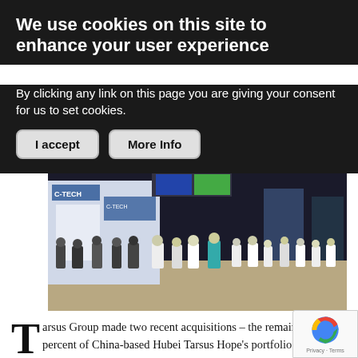We use cookies on this site to enhance your user experience
By clicking any link on this page you are giving your consent for us to set cookies.
[Figure (photo): Exhibition hall photo showing a medical trade show or conference with booths, attendees, and display screens. Booths include C-TECH branding among others.]
Tarsus Group made two recent acquisitions – the remaining 50 percent of China-based Hubei Tarsus Hope's portfolio of medical events it was in a joint venture on and buying the entirety of the Masters of Pediatric Dermatology (MOPD) event.
Hubei Hope Exhibition was the first acquisition made in 2008 by Tarsus in China as a 50/50 joint venture that...